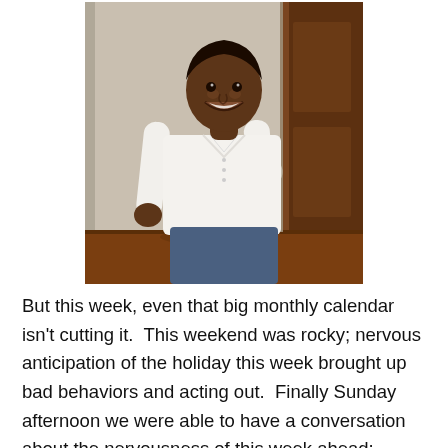[Figure (photo): A smiling young person wearing a white button-up shirt with rolled sleeves, holding a mug, standing indoors in front of a wall and dark wood door on a hardwood floor.]
But this week, even that big monthly calendar isn't cutting it.  This weekend was rocky; nervous anticipation of the holiday this week brought up bad behaviors and acting out.  Finally Sunday afternoon we were able to have a conversation about the nervousness of this week ahead: house-guests, shifting schedules, no school.
 I decided to make Marta her own daily schedule, and